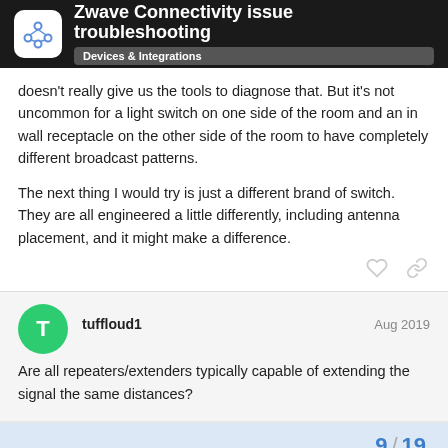Zwave Connectivity issue troubleshooting | Devices & Integrations
doesn't really give us the tools to diagnose that. But it's not uncommon for a light switch on one side of the room and an in wall receptacle on the other side of the room to have completely different broadcast patterns.

The next thing I would try is just a different brand of switch. They are all engineered a little differently, including antenna placement, and it might make a difference.
tuffloud1 · Aug 2019
Are all repeaters/extenders typically capable of extending the signal the same distances?
9 / 19